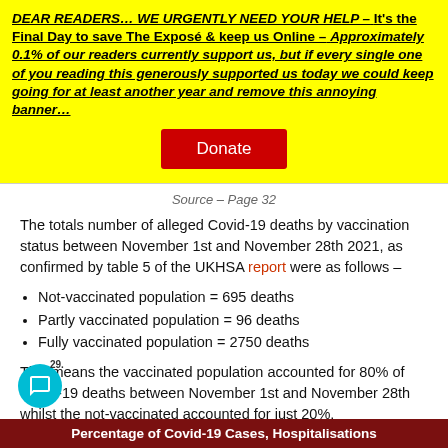DEAR READERS… WE URGENTLY NEED YOUR HELP – It's the Final Day to save The Exposé & keep us Online – Approximately 0.1% of our readers currently support us, but if every single one of you reading this generously supported us today we could keep going for at least another year and remove this annoying banner…
Donate
Source – Page 32
The totals number of alleged Covid-19 deaths by vaccination status between November 1st and November 28th 2021, as confirmed by table 5 of the UKHSA report were as follows –
Not-vaccinated population = 695 deaths
Partly vaccinated population = 96 deaths
Fully vaccinated population = 2750 deaths
This means the vaccinated population accounted for 80% of Covid-19 deaths between November 1st and November 28th whilst the not-vaccinated accounted for just 20%.
Percentage of Covid-19 Cases, Hospitalisations